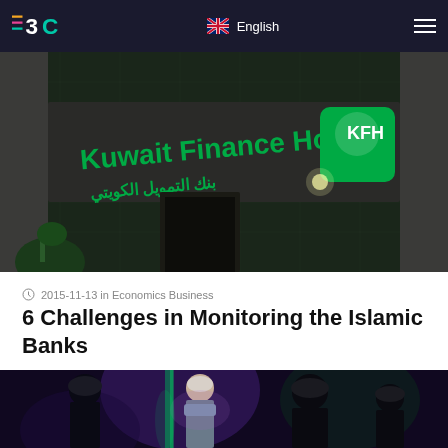EBC | English
[Figure (photo): Kuwait Finance House bank branch exterior with green signage in Arabic and English on a glass and stone building facade]
2015-11-13 in Economics Business
6 Challenges in Monitoring the Islamic Banks
[Figure (photo): Group of people in formal attire including individuals in traditional Gulf Arab dress and a woman with short white hair at what appears to be a conference or event, with purple and green lighting]